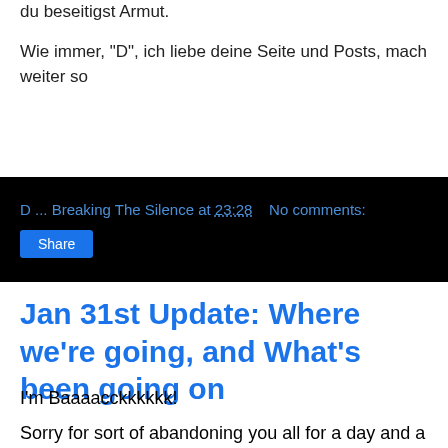du beseitigst Armut.
Wie immer, "D", ich liebe deine Seite und Posts, mach weiter so
D ... Breaking The Silence at 23:28    No comments:
Share
Jan 31st Update: Where we're going, and What's been going on
I'm Baaaacckkkkkk!
Sorry for sort of abandoning you all for a day and a half- I